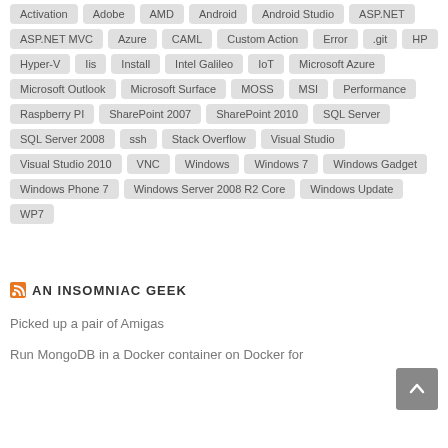Activation, Adobe, AMD, Android, Android Studio, ASP.NET, ASP.NET MVC, Azure, CAML, Custom Action, Error, .git, HP, Hyper-V, Iis, Install, Intel Galileo, IoT, Microsoft Azure, Microsoft Outlook, Microsoft Surface, MOSS, MSI, Performance, Raspberry PI, SharePoint 2007, SharePoint 2010, SQL Server, SQL Server 2008, ssh, Stack Overflow, Visual Studio, Visual Studio 2010, VNC, Windows, Windows 7, Windows Gadget, Windows Phone 7, Windows Server 2008 R2 Core, Windows Update, WP7
AN INSOMNIAC GEEK
Picked up a pair of Amigas
Run MongoDB in a Docker container on Docker for